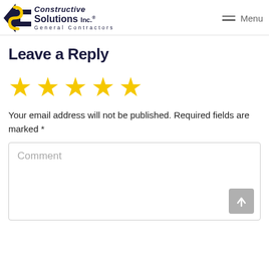Constructive Solutions Inc.® General Contractors — Menu
Leave a Reply
[Figure (other): Five yellow star rating icons]
Your email address will not be published. Required fields are marked *
Comment